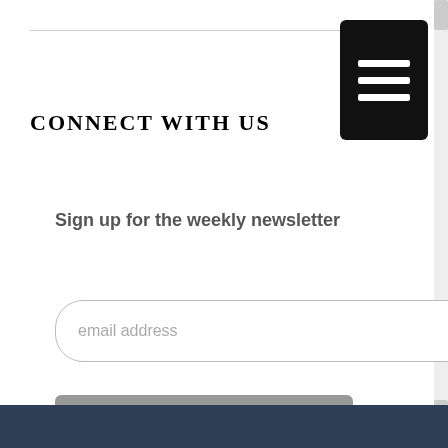CONNECT WITH US
Sign up for the weekly newsletter
[Figure (screenshot): Email address input field with placeholder text 'email address' and a grey Subscribe button below it]